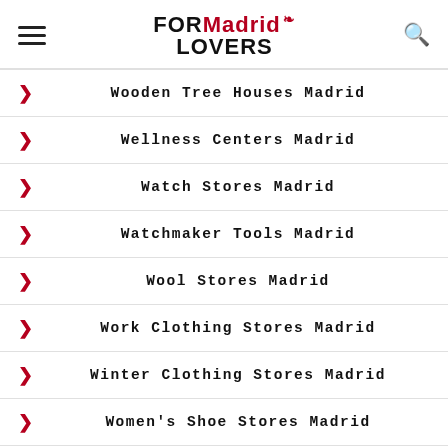FORMadrid LOVERS
Wooden Tree Houses Madrid
Wellness Centers Madrid
Watch Stores Madrid
Watchmaker Tools Madrid
Wool Stores Madrid
Work Clothing Stores Madrid
Winter Clothing Stores Madrid
Women's Shoe Stores Madrid